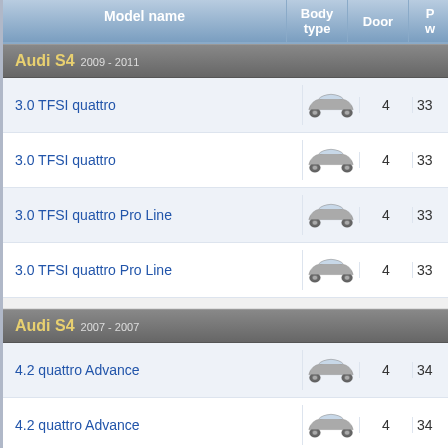| Model name | Body type | Door | P...w |
| --- | --- | --- | --- |
| 3.0 TFSI quattro | [sedan] | 4 | 33... |
| 3.0 TFSI quattro | [sedan] | 4 | 33... |
| 3.0 TFSI quattro Pro Line | [sedan] | 4 | 33... |
| 3.0 TFSI quattro Pro Line | [sedan] | 4 | 33... |
| 4.2 quattro Advance | [sedan] | 4 | 34... |
| 4.2 quattro Advance | [sedan] | 4 | 34... |
| 4.2 quattro | [sedan] | 4 | 34... |
| 4.2 quattro | [sedan] | 4 | 34... |